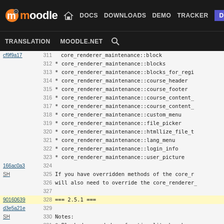moodle DOCS DOWNLOADS DEMO TRACKER DEV TRANSLATION MOODLE.NET
311 core_renderer_maintenance::block
312 * core_renderer_maintenance::blocks
313 * core_renderer_maintenance::blocks_for_regi
314 * core_renderer_maintenance::course_header
315 * core_renderer_maintenance::course_footer
316 * core_renderer_maintenance::course_content_
317 * core_renderer_maintenance::course_content_
318 * core_renderer_maintenance::custom_menu
319 * core_renderer_maintenance::file_picker
320 * core_renderer_maintenance::htmllize_file_t
321 * core_renderer_maintenance::lang_menu
322 * core_renderer_maintenance::login_info
323 * core_renderer_maintenance::user_picture
324
325 If you have overridden methods of the core_r
326 will also need to override the core_renderer_
327
328 === 2.5.1 ===
329
330 Notes:
331 * Block drag and drop functionality has been
332   or how many block regions you have. In ord
333   $OUTPUT->blocks_for_region() to $OUTPUT->b
334
335 Optional changes:
336 * Theme config can nominate block regions to
337   $THEME->blockrtlmanipulations should be